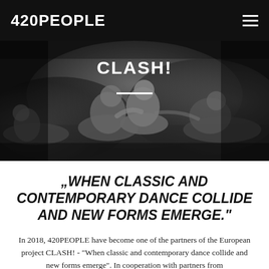420PEOPLE
[Figure (photo): Black and white photo of contemporary dancers on a dark stage floor, several performers in various poses including lying and crouching, with dramatic lighting.]
CLASH!
"WHEN CLASSIC AND CONTEMPORARY DANCE COLLIDE AND NEW FORMS EMERGE."
In 2018, 420PEOPLE have become one of the partners of the European project CLASH! - "When classic and contemporary dance collide and new forms emerge". In cooperation with partners from